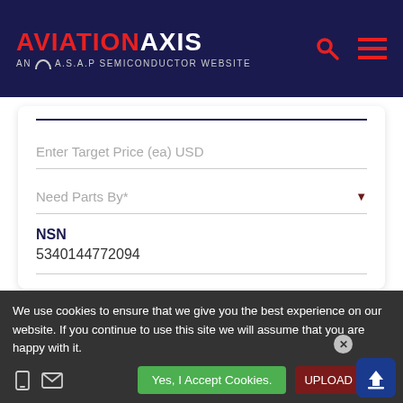AVIATION AXIS — AN A.S.A.P SEMICONDUCTOR WEBSITE
Enter Target Price (ea) USD
Need Parts By*
NSN
5340144772094
We use cookies to ensure that we give you the best experience on our website. If you continue to use this site we will assume that you are happy with it.
Yes, I Accept Cookies.
UPLOAD RFQ